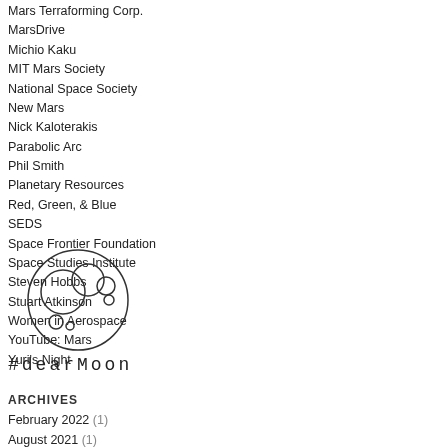Mars Terraforming Corp.
MarsDrive
Michio Kaku
MIT Mars Society
National Space Society
New Mars
Nick Kaloterakis
Parabolic Arc
Phil Smith
Planetary Resources
Red, Green, & Blue
SEDS
Space Frontier Foundation
Space Studies Institute
Steven Hobbs
Stuart Atkinson
Women in Aerospace
YouTube: Mars
Yuri's Night
[Figure (logo): Circular logo with overlapping circles of various sizes inside a large circle, resembling bubbles or planets]
#dearMoon
ARCHIVES
February 2022 (1)
August 2021 (1)